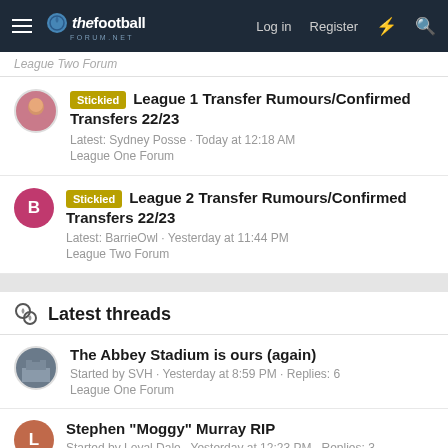thefootballforum.net — Log in | Register
League Two Forum
Stickied League 1 Transfer Rumours/Confirmed Transfers 22/23
Latest: Sydney Posse · Today at 12:18 AM
League One Forum
Stickied League 2 Transfer Rumours/Confirmed Transfers 22/23
Latest: BarrieOwl · Yesterday at 11:44 PM
League Two Forum
Latest threads
The Abbey Stadium is ours (again)
Started by SVH · Yesterday at 8:59 PM · Replies: 6
League One Forum
Stephen "Moggy" Murray RIP
Started by Loyal Dale · Yesterday at 12:23 PM · Replies: 3